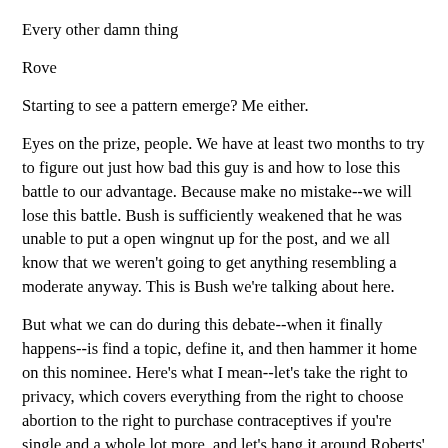Every other damn thing
Rove
Starting to see a pattern emerge? Me either.
Eyes on the prize, people. We have at least two months to try to figure out just how bad this guy is and how to lose this battle to our advantage. Because make no mistake--we will lose this battle. Bush is sufficiently weakened that he was unable to put a open wingnut up for the post, and we all know that we weren't going to get anything resembling a moderate anyway. This is Bush we're talking about here.
But what we can do during this debate--when it finally happens--is find a topic, define it, and then hammer it home on this nominee. Here's what I mean--let's take the right to privacy, which covers everything from the right to choose abortion to the right to purchase contraceptives if you're single and a whole lot more, and let's hang it around Roberts' neck during the confirmation hearings. Pummel him on that point, because the early indications are that he's not